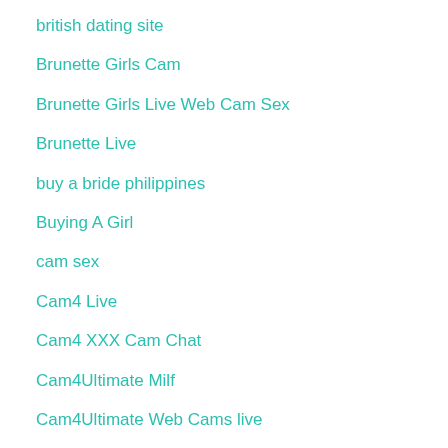british dating site
Brunette Girls Cam
Brunette Girls Live Web Cam Sex
Brunette Live
buy a bride philippines
Buying A Girl
cam sex
Cam4 Live
Cam4 XXX Cam Chat
Cam4Ultimate Milf
Cam4Ultimate Web Cams live
Cam4Ultimate Cam